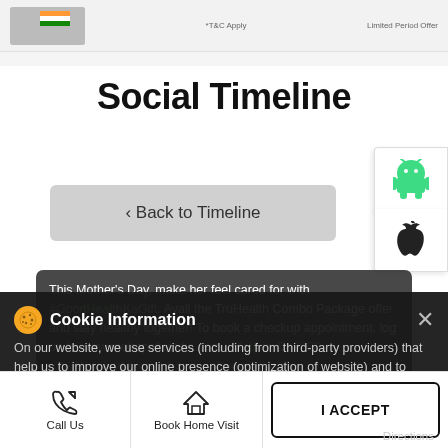[Figure (screenshot): Top banner with image thumbnail, T&C Apply text, and Limited Period Offer text]
Social Timeline
[Figure (other): Android app store button (green Android robot icon)]
[Figure (other): Apple app store button (Apple logo icon)]
< Back to Timeline
This Mother's Day, make her feel cared for with #GoodHealthKaGift. Avail the TruHealth Combo Package offer and stay healthy together! To book a checkup appointment, log on to www.metropolisindia.com #MothersDa2022 #TruHealth #MetropolisLabs #PreventiveCare #GoodHealthKaGift
On our website, we use services (including from third-party providers) that help us to improve our online presence (optimization of website) and to display content that is geared to their interests. We need your consent before being able to use these services.
Call Us
Book Home Visit
I ACCEPT
Directions